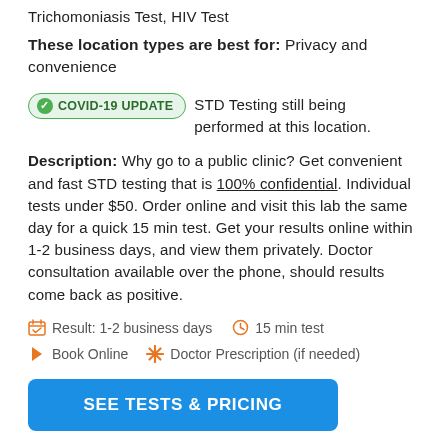Trichomoniasis Test, HIV Test
These location types are best for: Privacy and convenience
COVID-19 UPDATE  STD Testing still being performed at this location.
Description: Why go to a public clinic? Get convenient and fast STD testing that is 100% confidential. Individual tests under $50. Order online and visit this lab the same day for a quick 15 min test. Get your results online within 1-2 business days, and view them privately. Doctor consultation available over the phone, should results come back as positive.
Result: 1-2 business days   15 min test
Book Online   Doctor Prescription (if needed)
SEE TESTS & PRICING